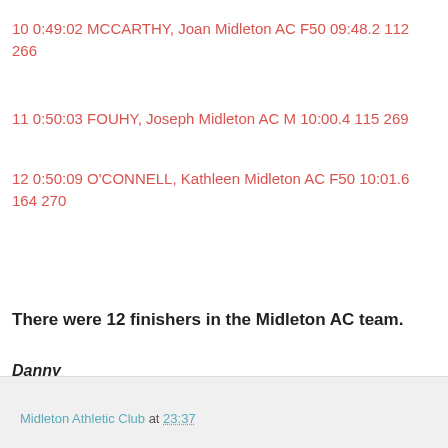10 0:49:02 MCCARTHY, Joan Midleton AC F50 09:48.2 112 266
11 0:50:03 FOUHY, Joseph Midleton AC M 10:00.4 115 269
12 0:50:09 O'CONNELL, Kathleen Midleton AC F50 10:01.6 164 270
There were 12 finishers in the Midleton AC team.
Danny
Midleton Athletic Club at 23:37